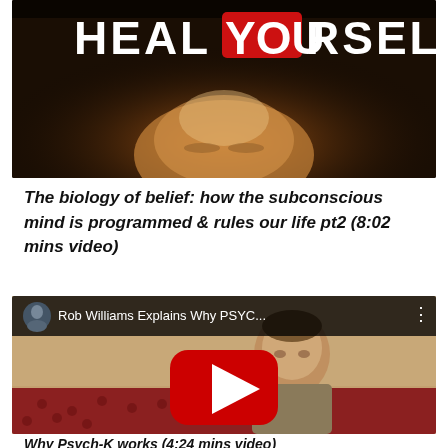[Figure (screenshot): YouTube video thumbnail showing 'HEAL YOURSELF' text over a glowing face on dark background]
The biology of belief: how the subconscious mind is programmed & rules our life pt2 (8:02 mins video)
[Figure (screenshot): YouTube video embed showing Rob Williams with play button, title 'Rob Williams Explains Why PSYC...']
Why Psych-K works (4:24 mins video)